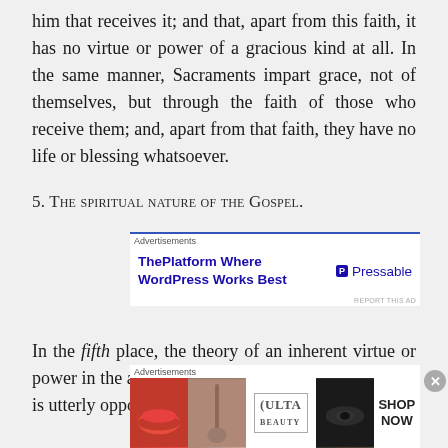him that receives it; and that, apart from this faith, it has no virtue or power of a gracious kind at all. In the same manner, Sacraments impart grace, not of themselves, but through the faith of those who receive them; and, apart from that faith, they have no life or blessing whatsoever.
5. The spiritual nature of the Gospel.
[Figure (screenshot): Web advertisement banner for Pressable hosting: 'ThePlatform Where WordPress Works Best' with Pressable logo]
In the fifth place, the theory of an inherent virtue or power in the administration of the outward ordinance is utterly opposed to those numerous
[Figure (screenshot): Web advertisement for ULTA beauty products showing makeup images with 'SHOP NOW' button]